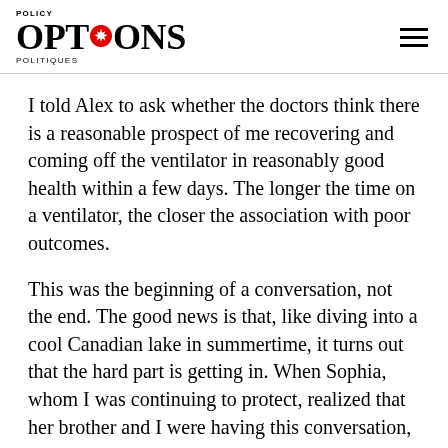POLICY OPTIONS POLITIQUES
I told Alex to ask whether the doctors think there is a reasonable prospect of me recovering and coming off the ventilator in reasonably good health within a few days. The longer the time on a ventilator, the closer the association with poor outcomes.
This was the beginning of a conversation, not the end. The good news is that, like diving into a cool Canadian lake in summertime, it turns out that the hard part is getting in. When Sophia, whom I was continuing to protect, realized that her brother and I were having this conversation,